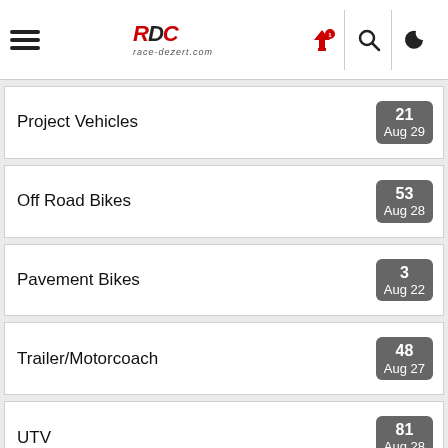race-dezert.com navigation header with hamburger menu, logo, upload, search, and moon icons
Project Vehicles | 21 | Aug 29
Off Road Bikes | 53 | Aug 28
Pavement Bikes | 3 | Aug 22
Trailer/Motorcoach | 48 | Aug 27
UTV | 81 | Aug 28
Wheels/Tires | 110 | Aug 28
Tools | 16 | Aug 26